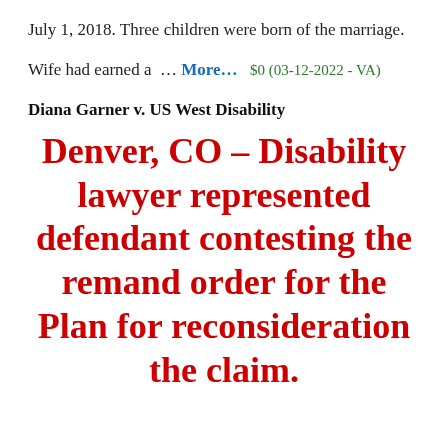July 1, 2018. Three children were born of the marriage.
Wife had earned a … More… $0 (03-12-2022 - VA)
Diana Garner v. US West Disability
Denver, CO – Disability lawyer represented defendant contesting the remand order for the Plan for reconsideration the claim.